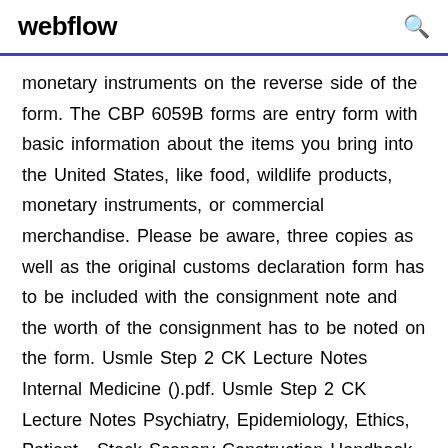webflow
monetary instruments on the reverse side of the form. The CBP 6059B forms are entry form with basic information about the items you bring into the United States, like food, wildlife products, monetary instruments, or commercial merchandise. Please be aware, three copies as well as the original customs declaration form has to be included with the consignment note and the worth of the consignment has to be noted on the form. Usmle Step 2 CK Lecture Notes Internal Medicine ().pdf. Usmle Step 2 CK Lecture Notes Psychiatry, Epidemiology, Ethics, Patient . Stock Scenery Construction Handbook [Bill Raoul, Mike Monsos] on Amazon.com. *FREE*